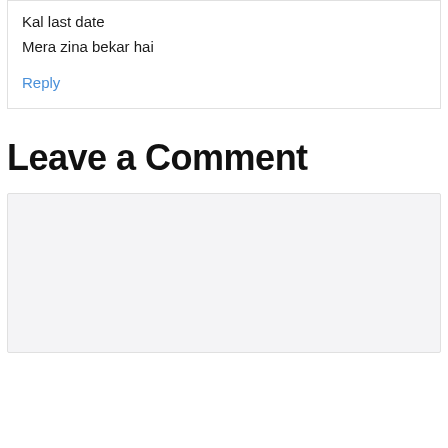Kal last date
Mera zina bekar hai
Reply
Leave a Comment